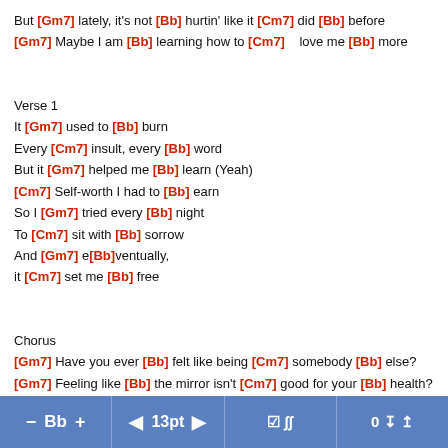But [Gm7] lately, it's not [Bb] hurtin' like it [Cm7] did [Bb] before
[Gm7] Maybe I am [Bb] learning how to [Cm7]   love me [Bb] more
Verse 1
It [Gm7] used to [Bb] burn
Every [Cm7] insult, every [Bb] word
But it [Gm7] helped me [Bb] learn (Yeah)
[Cm7] Self-worth I had to [Bb] earn
So I [Gm7] tried every [Bb] night
To [Cm7] sit with [Bb] sorrow
And [Gm7] e[Bb]ventually,
it [Cm7] set me [Bb] free
Chorus
[Gm7] Have you ever [Bb] felt like being [Cm7] somebody [Bb] else?
[Gm7] Feeling like [Bb] the mirror isn't [Cm7] good for your [Bb] health?
[Gm7] Every day, I'm [Bb] trying not to [Cm7] hate myself   [Bb]
But [Cm7] lately, it's not [Bb] hurtin' like it [Cm7] did [Bb] be...